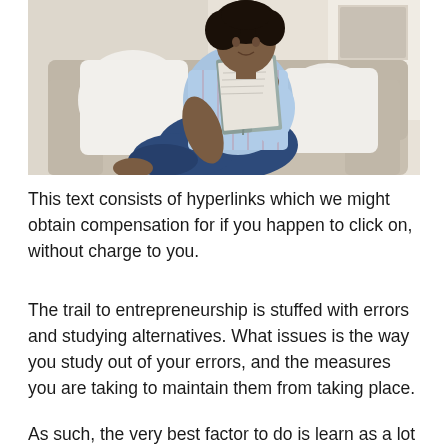[Figure (photo): A woman sitting on a beige sofa reading a book, wearing a light blue plaid shirt and jeans, with white pillows around her]
This text consists of hyperlinks which we might obtain compensation for if you happen to click on, without charge to you.
The trail to entrepreneurship is stuffed with errors and studying alternatives. What issues is the way you study out of your errors, and the measures you are taking to maintain them from taking place.
As such, the very best factor to do is learn as a lot as